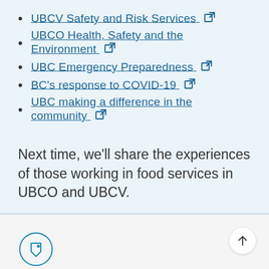UBCV Safety and Risk Services
UBCO Health, Safety and the Environment
UBC Emergency Preparedness
BC's response to COVID-19
UBC making a difference in the community
Next time, we'll share the experiences of those working in food services in UBCO and UBCV.
University news   Our people   Faculty   Staff   UBCV & UBCO